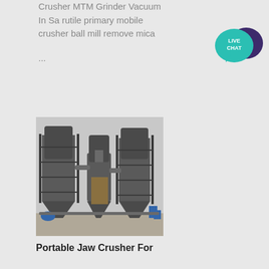Crusher MTM Grinder Vacuum In Sa rutile primary mobile crusher ball mill remove mica
...
[Figure (photo): Industrial grinding/milling plant with large cylindrical silos, cyclone separators, and steel framework structure outdoors]
Portable Jaw Crusher For